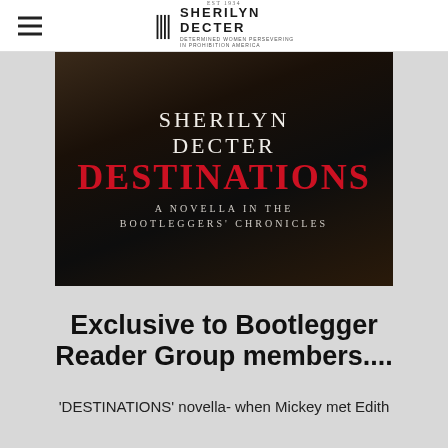SHERILYN DECTER — Determined Women Persevering in Prohibition America
[Figure (illustration): Book cover for 'Destinations: A Novella in the Bootleggers' Chronicles' by Sherilyn Decter. Dark background with white serif author name, red bold title text 'DESTINATIONS', and white subtitle text.]
Exclusive to Bootlegger Reader Group members....
'DESTINATIONS' novella- when Mickey met Edith